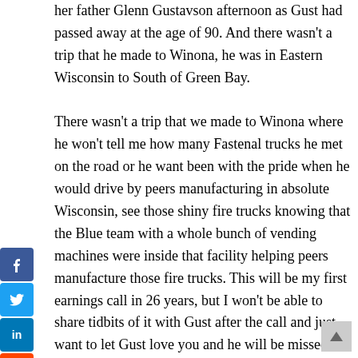her father Glenn Gustavson afternoon as Gust had passed away at the age of 90. And there wasn't a trip that he made to Winona, he was in Eastern Wisconsin to South of Green Bay.

There wasn't a trip that we made to Winona where he won't tell me how many Fastenal trucks he met on the road or he want been with the pride when he would drive by peers manufacturing in absolute Wisconsin, see those shiny fire trucks knowing that the Blue team with a whole bunch of vending machines were inside that facility helping peers manufacture those fire trucks. This will be my first earnings call in 26 years, but I won't be able to share tidbits of it with Gust after the call and just want to let Gust love you and he will be missed and rest assured the Packers will figure out a way to win
[Figure (other): Social media sharing icons: Facebook, Twitter, LinkedIn, Reddit, Flipboard, SmartNews]